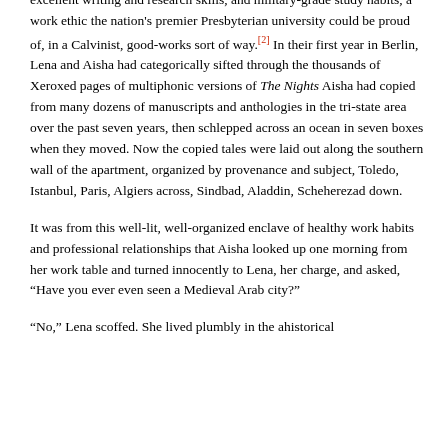excellent writing and research skills, and military-grade study habits, a work ethic the nation's premier Presbyterian university could be proud of, in a Calvinist, good-works sort of way.[2] In their first year in Berlin, Lena and Aisha had categorically sifted through the thousands of Xeroxed pages of multiphonic versions of The Nights Aisha had copied from many dozens of manuscripts and anthologies in the tri-state area over the past seven years, then schlepped across an ocean in seven boxes when they moved. Now the copied tales were laid out along the southern wall of the apartment, organized by provenance and subject, Toledo, Istanbul, Paris, Algiers across, Sindbad, Aladdin, Scheherezad down.
It was from this well-lit, well-organized enclave of healthy work habits and professional relationships that Aisha looked up one morning from her work table and turned innocently to Lena, her charge, and asked, "Have you ever even seen a Medieval Arab city?"
“No,” Lena scoffed. She lived plumbly in the ahistorical